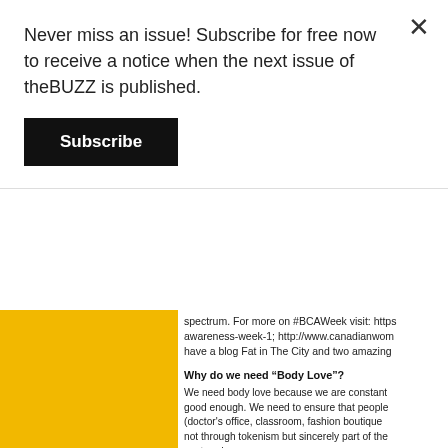Never miss an issue! Subscribe for free now to receive a notice when the next issue of theBUZZ is published.
Subscribe
spectrum. For more on #BCAWeek visit: https... awareness-week-1; http://www.canadianwom... have a blog Fat in The City and two amazing...
Why do we need “Body Love”?
We need body love because we are constant... good enough. We need to ensure that people (doctor's office, classroom, fashion boutique ... not through tokenism but sincerely part of the... centered
What can we expect at the event? Vibe? E...